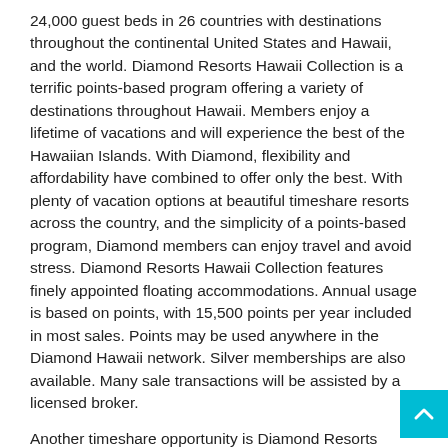24,000 guest beds in 26 countries with destinations throughout the continental United States and Hawaii, and the world. Diamond Resorts Hawaii Collection is a terrific points-based program offering a variety of destinations throughout Hawaii. Members enjoy a lifetime of vacations and will experience the best of the Hawaiian Islands. With Diamond, flexibility and affordability have combined to offer only the best. With plenty of vacation options at beautiful timeshare resorts across the country, and the simplicity of a points-based program, Diamond members can enjoy travel and avoid stress. Diamond Resorts Hawaii Collection features finely appointed floating accommodations. Annual usage is based on points, with 15,500 points per year included in most sales. Points may be used anywhere in the Diamond Hawaii network. Silver memberships are also available. Many sale transactions will be assisted by a licensed broker.
Another timeshare opportunity is Diamond Resorts California Collection. Diamond Resorts California Collection Trust is an ownership that is points-based and includes use of two resorts: Lake Tahoe Vacation Resort - Lake Tahoe, CA and San Luis Bay Inn - Avila Beach, CA. Please see MyResortNetwork.com/ Diamond Resorts California Collection.